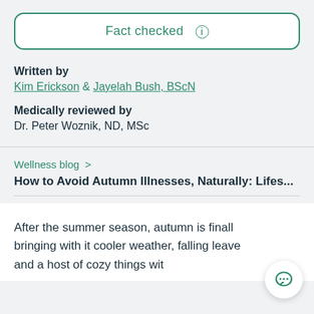Fact checked  i
Written by
Kim Erickson & Jayelah Bush, BScN
Medically reviewed by
Dr. Peter Woznik, ND, MSc
Wellness blog >
How to Avoid Autumn Illnesses, Naturally: Lifes...
After the summer season, autumn is finally here, bringing with it cooler weather, falling leaves, and a host of cozy things to...